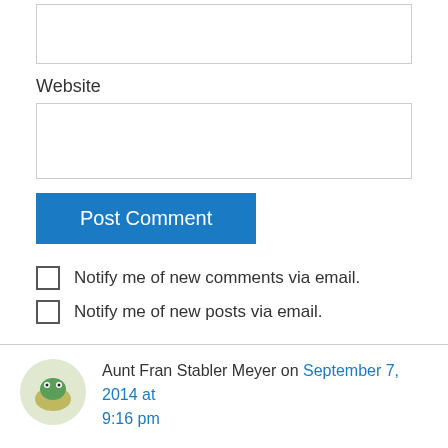[Figure (other): Empty text input box (top, partially visible)]
Website
[Figure (other): Empty website input field]
Post Comment
Notify me of new comments via email.
Notify me of new posts via email.
Aunt Fran Stabler Meyer on September 7, 2014 at 9:16 pm
Wonderful research, Panch! An intriguing story/history unfolding. I am hooked. 🙁 Both